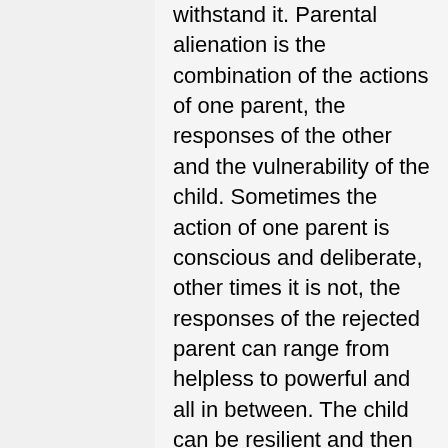withstand it. Parental alienation is the combination of the actions of one parent, the responses of the other and the vulnerability of the child. Sometimes the action of one parent is conscious and deliberate, other times it is not, the responses of the rejected parent can range from helpless to powerful and all in between. The child can be resilient and then reach an age (8-14) when they become very vulnerable to the alienation reaction. This is a moveable situation it is not static and it is important to think and act with awareness and clarity